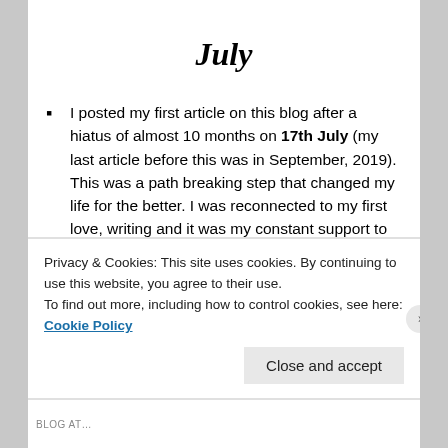July
I posted my first article on this blog after a hiatus of almost 10 months on 17th July (my last article before this was in September, 2019). This was a path breaking step that changed my life for the better. I was reconnected to my first love, writing and it was my constant support to cope up with the tough situations I was facing in life back then.
I decided to take the most difficult yet BEST decision of my life by entering into a “100 day daily blogging…
Privacy & Cookies: This site uses cookies. By continuing to use this website, you agree to their use.
To find out more, including how to control cookies, see here: Cookie Policy
Close and accept